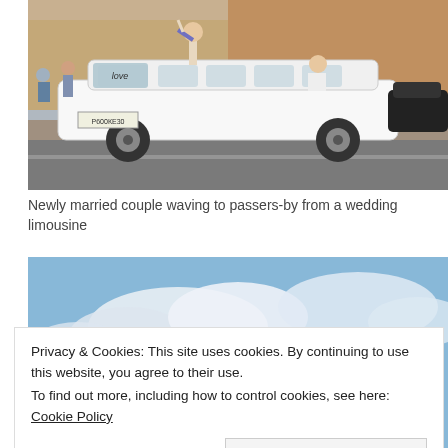[Figure (photo): A white stretch limousine driving on a road in an urban setting. A man in a white shirt is standing through the sunroof waving, and a woman in a wedding dress is leaning out a window. People are visible on the sidewalk in the background.]
Newly married couple waving to passers-by from a wedding limousine
[Figure (photo): A photo showing a bright blue sky with white clouds, partially cut off by a cookie consent banner overlay.]
Privacy & Cookies: This site uses cookies. By continuing to use this website, you agree to their use.
To find out more, including how to control cookies, see here: Cookie Policy
Close and accept